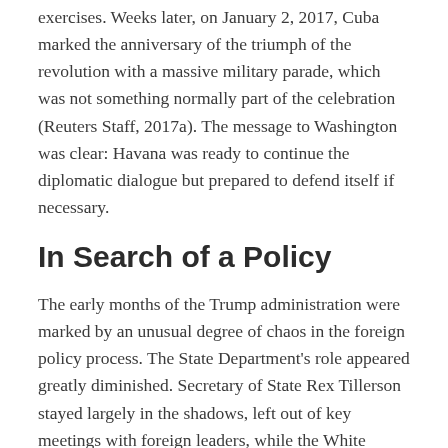exercises. Weeks later, on January 2, 2017, Cuba marked the anniversary of the triumph of the revolution with a massive military parade, which was not something normally part of the celebration (Reuters Staff, 2017a). The message to Washington was clear: Havana was ready to continue the diplomatic dialogue but prepared to defend itself if necessary.
In Search of a Policy
The early months of the Trump administration were marked by an unusual degree of chaos in the foreign policy process. The State Department's role appeared greatly diminished. Secretary of State Rex Tillerson stayed largely in the shadows, left out of key meetings with foreign leaders, while the White House proposed to cut the department's budget by a whopping 37 percent,